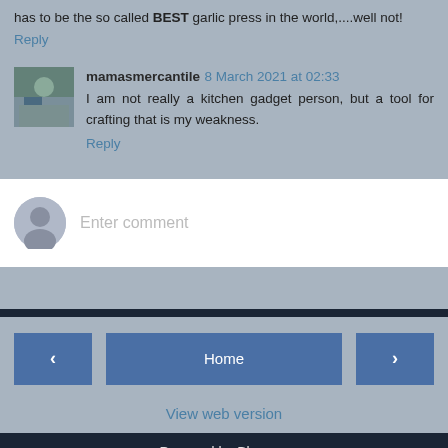has to be the so called BEST garlic press in the world,....well not!
Reply
mamasmercantile 8 March 2021 at 02:33
I am not really a kitchen gadget person, but a tool for crafting that is my weakness.
Reply
Enter comment
Home
View web version
Powered by Blogger.